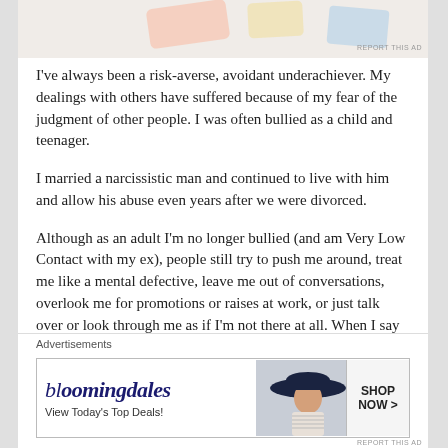[Figure (photo): Partial top image/advertisement cropped at the top of the page, colorful with pastel shapes]
I've always been a risk-averse, avoidant underachiever. My dealings with others have suffered because of my fear of the judgment of other people. I was often bullied as a child and teenager.
I married a narcissistic man and continued to live with him and allow his abuse even years after we were divorced.
Although as an adult I'm no longer bullied (and am Very Low Contact with my ex), people still try to push me around, treat me like a mental defective, leave me out of conversations, overlook me for promotions or raises at work, or just talk over or look through me as if I'm not there at all. When I say something, people act like they don't hear me. It's very hard for me to make friends or
Advertisements
[Figure (screenshot): Bloomingdale's advertisement banner: logo reading 'bloomingdales', tagline 'View Today's Top Deals!', image of woman with large hat, button reading 'SHOP NOW >']